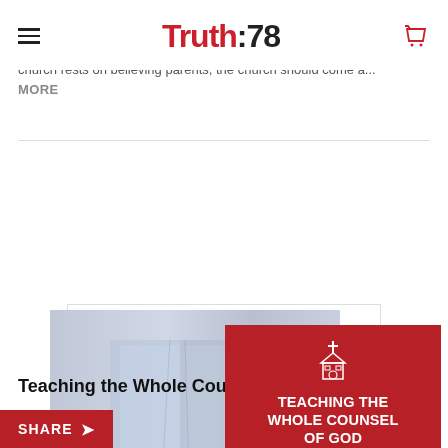Truth:78
church rests on believing parents, the church should come a...
MORE
[Figure (illustration): Seminar card showing 'Teaching the Whole Counsel of God' with a blurred open Bible image on the left and a red overlay card on the right with church icon, title, ministry role and target age information.]
Teaching the Whole Counsel of God